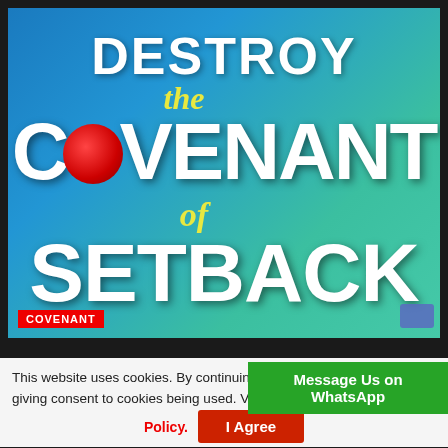[Figure (illustration): Book cover image with gradient blue-green background showing text: DESTROY the COVENANT of SETBACK, with a red circle replacing the O in COVENANT. A red tag at bottom left reads COVENANT.]
This website uses cookies. By continuing giving consent to cookies being used. Policy.
Message Us on WhatsApp
I Agree